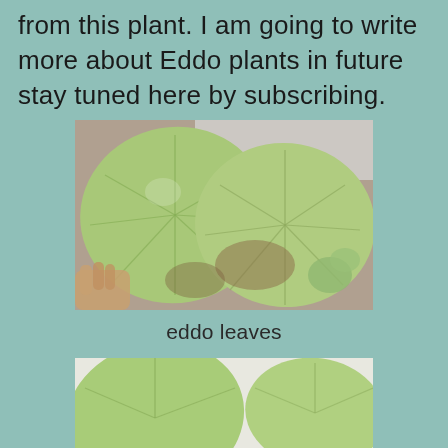from this plant. I am going to write more about Eddo plants in future stay tuned here by subscribing.
[Figure (photo): Close-up photo of large round eddo (taro) leaves, light green in color, with visible veins radiating from center. A hand is partially visible at bottom left holding one leaf. Soil and small plants visible in background.]
eddo leaves
[Figure (photo): Partial view of another eddo plant with green leaves, cropped at bottom of page.]